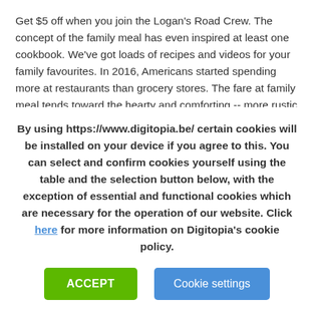Get $5 off when you join the Logan's Road Crew. The concept of the family meal has even inspired at least one cookbook. We've got loads of recipes and videos for your family favourites. In 2016, Americans started spending more at restaurants than grocery stores. The fare at family meal tends toward the hearty and comforting -- more rustic than the food that the restaurant usually serves, but often no less delicious. The kits come with 'your choice of two quarts of Baskin-Robbins ice cream flavors, your choice of one wet topping (like hot fudge or caramel sauce), two dry toppings (such as classic options like rainbow sprinkles and cookie dough pieces), a full can of whipped cream, and cherries to top it off.'
By using https://www.digitopia.be/ certain cookies will be installed on your device if you agree to this. You can select and confirm cookies yourself using the table and the selection button below, with the exception of essential and functional cookies which are necessary for the operation of our website. Click here for more information on Digitopia's cookie policy.